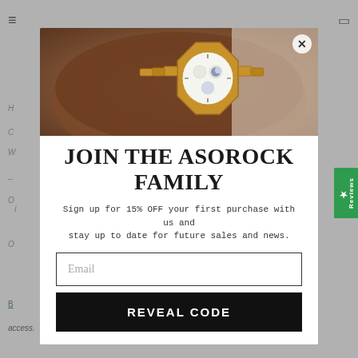[Figure (screenshot): Modal popup overlay on a website. Shows a luxury watch photo at top (gold watch on dark wrist), a title 'JOIN THE ASOROCK FAMILY', subtitle about 15% OFF, an email input field, and a REVEAL CODE button. A green Reviews tab is on the right edge.]
JOIN THE ASOROCK FAMILY
Sign up for 15% OFF your first purchase with us and stay up to date for future sales and news.
Email
REVEAL CODE